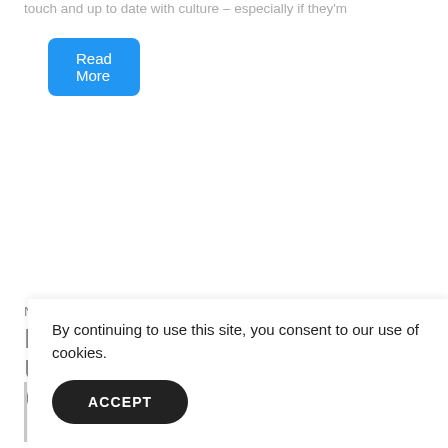touch and up to date with culture – especially if they'm
[Figure (other): Read More button — blue rounded rectangle with white text]
News
Broker-Dealers, Asset Managers Using Social Media to Connect With Advisers
By continuing to use this site, you consent to our use of cookies.
[Figure (other): ACCEPT button — dark rounded rectangle with white text]